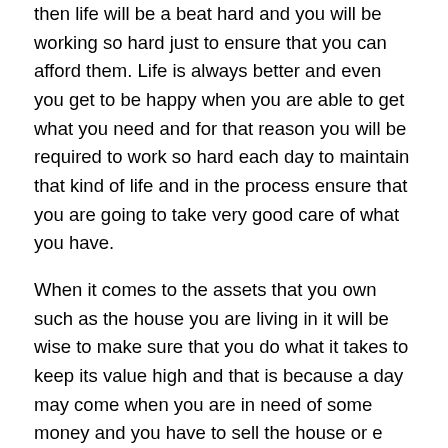then life will be a beat hard and you will be working so hard just to ensure that you can afford them. Life is always better and even you get to be happy when you are able to get what you need and for that reason you will be required to work so hard each day to maintain that kind of life and in the process ensure that you are going to take very good care of what you have.
When it comes to the assets that you own such as the house you are living in it will be wise to make sure that you do what it takes to keep its value high and that is because a day may come when you are in need of some money and you have to sell the house or e even when you are moving to another place and when the value of the house is high you are going to sell at a high price something that will get you more money. Taking care of the things that you have is not something that you need to joke with and that is because you may end up getting to lose them and that will hurt you so bad at the same time taking back to the time when